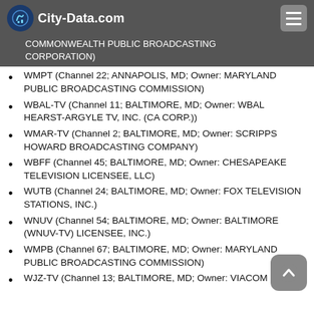City-Data.com
COMMONWEALTH PUBLIC BROADCASTING CORPORATION)
WMPT (Channel 22; ANNAPOLIS, MD; Owner: MARYLAND PUBLIC BROADCASTING COMMISSION)
WBAL-TV (Channel 11; BALTIMORE, MD; Owner: WBAL HEARST-ARGYLE TV, INC. (CA CORP.))
WMAR-TV (Channel 2; BALTIMORE, MD; Owner: SCRIPPS HOWARD BROADCASTING COMPANY)
WBFF (Channel 45; BALTIMORE, MD; Owner: CHESAPEAKE TELEVISION LICENSEE, LLC)
WUTB (Channel 24; BALTIMORE, MD; Owner: FOX TELEVISION STATIONS, INC.)
WNUV (Channel 54; BALTIMORE, MD; Owner: BALTIMORE (WNUV-TV) LICENSEE, INC.)
WMPB (Channel 67; BALTIMORE, MD; Owner: MARYLAND PUBLIC BROADCASTING COMMISSION)
WJZ-TV (Channel 13; BALTIMORE, MD; Owner: VIACOM INC.)